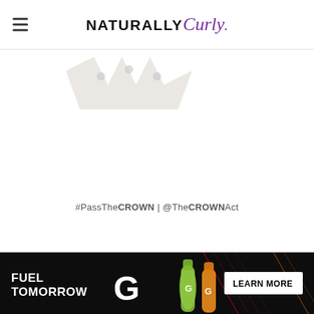NATURALLY Curly (logo)
[Figure (illustration): Partial image of a crown or ruler-like object, light gray/beige tones, partially visible at top of main content area]
#PassTheCROWN | @TheCROWNAct
[Figure (other): Gatorade advertisement banner: 'FUEL TOMORROW' with Gatorade G logo, two Gatorade bottles (green and orange), and 'LEARN MORE' button on dark background with diagonal line accents]